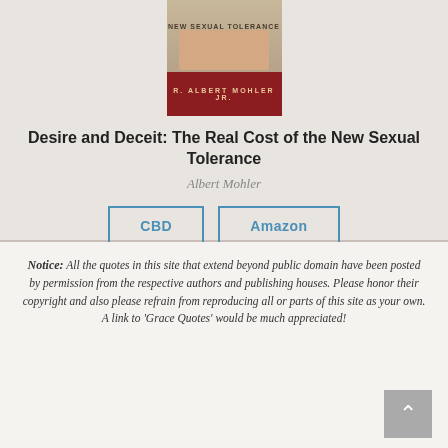[Figure (illustration): Book cover of 'Desire and Deceit: The Real Cost of the New Sexual Tolerance' by R. Albert Mohler Jr., showing hands touching on a dark red background with title text.]
Desire and Deceit: The Real Cost of the New Sexual Tolerance
Albert Mohler
CBD  Amazon
Notice: All the quotes in this site that extend beyond public domain have been posted by permission from the respective authors and publishing houses. Please honor their copyright and also please refrain from reproducing all or parts of this site as your own. A link to 'Grace Quotes' would be much appreciated!